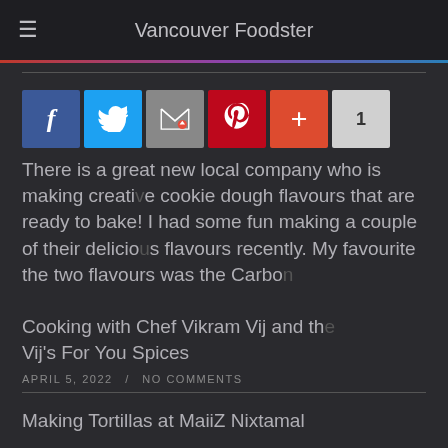Vancouver Foodster
[Figure (other): Social share buttons: Facebook, Twitter, Email, Pinterest, Plus, count 1]
There is a great new local company who is making creative cookie dough flavours that are ready to bake! I had some fun making a couple of their delicious flavours recently. My favourite of the two flavours was the Carbo
Cooking with Chef Vikram Vij and the Vij’s For You Spices
APRIL 5, 2022  /  NO COMMENTS
Making Tortillas at MaiiZ Nixtamal